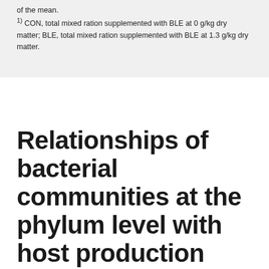of the mean.
1) CON, total mixed ration supplemented with BLE at 0 g/kg dry matter; BLE, total mixed ration supplemented with BLE at 1.3 g/kg dry matter.
Relationships of bacterial communities at the phylum level with host production performance and ruminal fermentation parameters